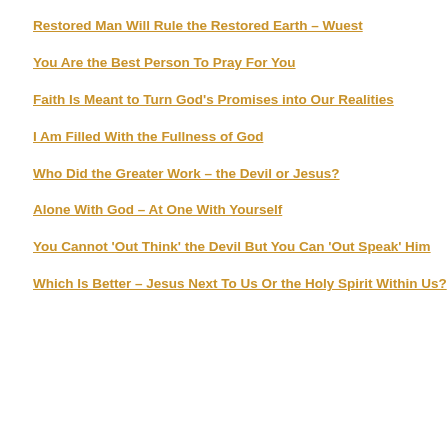Restored Man Will Rule the Restored Earth – Wuest
You Are the Best Person To Pray For You
Faith Is Meant to Turn God's Promises into Our Realities
I Am Filled With the Fullness of God
Who Did the Greater Work – the Devil or Jesus?
Alone With God – At One With Yourself
You Cannot 'Out Think' the Devil But You Can 'Out Speak' Him
Which Is Better – Jesus Next To Us Or the Holy Spirit Within Us?